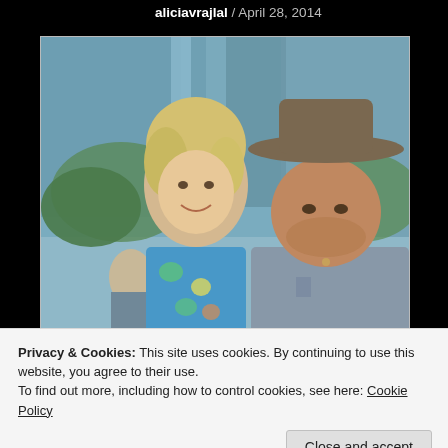aliciavrajlal / April 28, 2014
[Figure (photo): A man and a woman posing together outdoors. The woman is blonde wearing a floral dress; the man is wearing a wide-brimmed grey hat and a grey chambray shirt. Other people are visible in the background near a glass building.]
Privacy & Cookies: This site uses cookies. By continuing to use this website, you agree to their use.
To find out more, including how to control cookies, see here: Cookie Policy
Close and accept
of the Love Child cast for Season Two